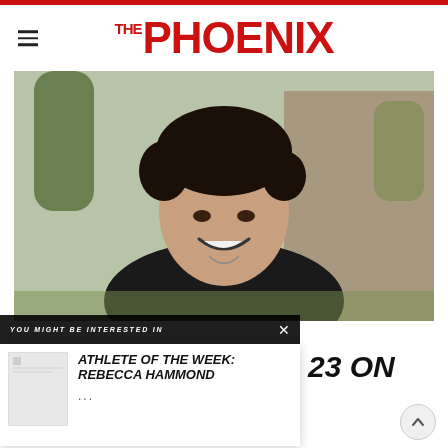THE PHOENIX
[Figure (photo): Young man with curly dark hair smiling outdoors, wearing a black shirt, with trees and stone building in background]
YOU MIGHT BE INTERESTED IN
[Figure (photo): Thumbnail image placeholder for athlete article]
ATHLETE OF THE WEEK: REBECCA HAMMOND
...
23 ON